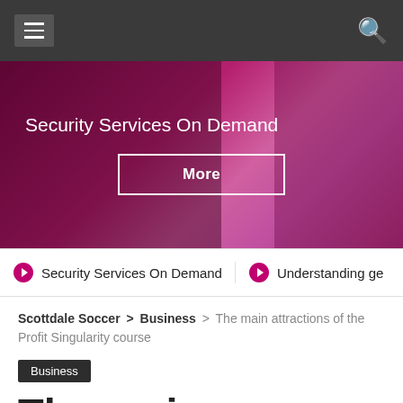Navigation bar with hamburger menu and search icon
[Figure (photo): Pink/magenta banner image with text 'Security Services On Demand' and a 'More' button]
Security Services On Demand | Understanding ge
Scottdale Soccer > Business > The main attractions of the Profit Singularity course
Business
The main attractions of the Profit Singularity course